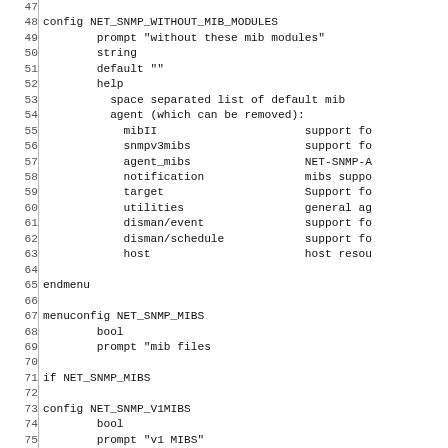Source code listing lines 47-76 showing Kconfig/menuconfig entries for NET_SNMP_WITHOUT_MIB_MODULES, NET_SNMP_MIBS, and NET_SNMP_V1MIBS